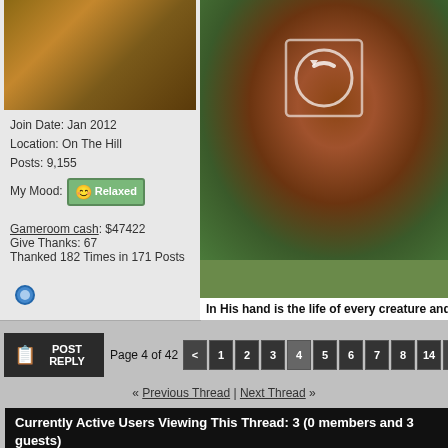[Figure (photo): Horse racing photo with a horse and jockey, close-up showing the horse's head and neck with racing gear]
Join Date: Jan 2012
Location: On The Hill
Posts: 9,155
My Mood: Relaxed
Gameroom cash: $47422
Give Thanks: 67
Thanked 182 Times in 171 Posts
[Figure (photo): Horse racing photo showing horse in full gallop on a track, with camera/replay icon overlay]
In His hand is the life of every creature and the bre
Page 4 of 42  < 1 2 3 4 5 6 7 8 14 > Last »
« Previous Thread | Next Thread »
Currently Active Users Viewing This Thread: 3 (0 members and 3 guests)